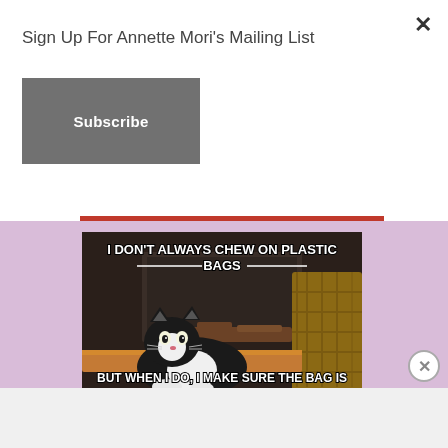Sign Up For Annette Mori's Mailing List
Subscribe
[Figure (illustration): Cat meme image with text: 'I DON'T ALWAYS CHEW ON PLASTIC BAGS' at top and 'BUT WHEN I DO, I MAKE SURE THE BAG IS IN YOUR BEDROOM AND YOU'RE SLEEPING.' at bottom. Shows a tuxedo cat lying down in front of a fireplace with firewood.]
Advertisements
[Figure (logo): Longreads advertisement banner in red with text: 'LONGREADS' and 'The best stories on the web — ours, and everyone else's.']